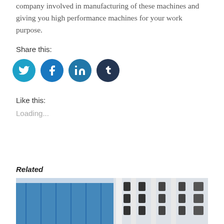company involved in manufacturing of these machines and giving you high performance machines for your work purpose.
Share this:
[Figure (other): Social media share icons: Twitter (light blue circle), Facebook (blue circle), LinkedIn (teal-blue circle), Tumblr (dark navy circle)]
Like this:
Loading...
Related
[Figure (photo): Industrial machinery photo showing manufacturing equipment with blue components and metal framework]